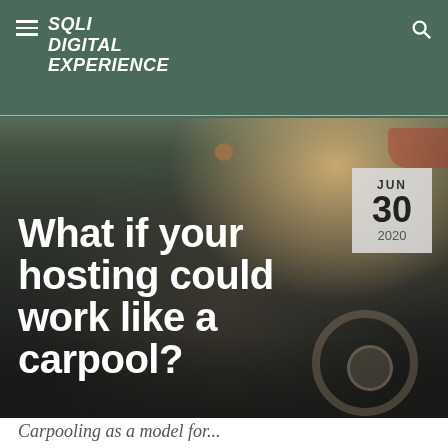SQLI DIGITAL EXPERIENCE
[Figure (photo): View from inside a Volkswagen car, showing the steering wheel and driver holding a smartphone, with passengers in the background. Dark interior with road ahead visible.]
What if your hosting could work like a carpool?
JUN 30 2020
Carpooling as a metaphor for...